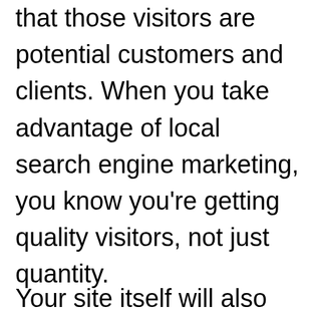that those visitors are potential customers and clients. When you take advantage of local search engine marketing, you know you're getting quality visitors, not just quantity.
Your site itself will also